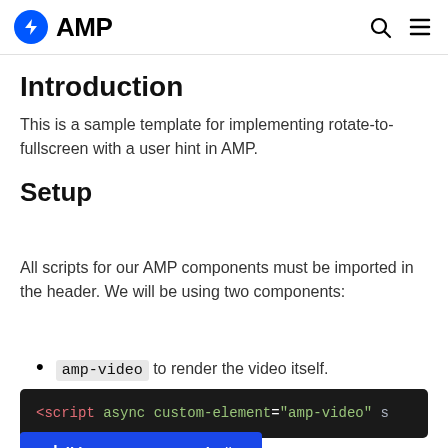AMP
Introduction
This is a sample template for implementing rotate-to-fullscreen with a user hint in AMP.
Setup
[Figure (screenshot): Blue tooltip/sidebar element reading: → | iki Durum Kenar Çubuğu]
All scripts for our AMP components must be imported in the header. We will be using two components:
amp-video to render the video itself.
<script async custom-element="amp-video" s